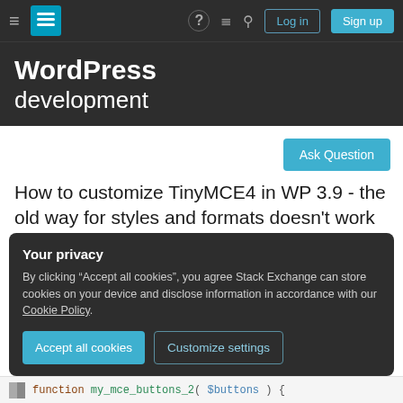WordPress development — Stack Exchange navigation bar with hamburger menu, logo, help icon, chat icon, search icon, Log in button, Sign up button
WordPress development
Ask Question
How to customize TinyMCE4 in WP 3.9 - the old way for styles and formats doesn't work anymore
Your privacy
By clicking "Accept all cookies", you agree Stack Exchange can store cookies on your device and disclose information in accordance with our Cookie Policy.
Accept all cookies   Customize settings
function my_mce_buttons_2( $buttons ) {